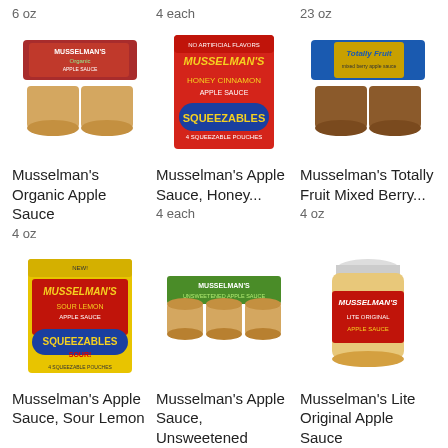6 oz
4 each
23 oz
[Figure (photo): Musselman's Organic Apple Sauce cups multipack product photo]
[Figure (photo): Musselman's Honey Cinnamon Apple Sauce Squeezables box product photo]
[Figure (photo): Musselman's Totally Fruit Mixed Berry apple sauce cups multipack product photo]
Musselman's Organic Apple Sauce
4 oz
Musselman's Apple Sauce, Honey...
4 each
Musselman's Totally Fruit Mixed Berry...
4 oz
[Figure (photo): Musselman's Sour Lemon Apple Sauce Squeezables box product photo]
[Figure (photo): Musselman's Unsweetened Apple Sauce cups multipack product photo]
[Figure (photo): Musselman's Lite Original Apple Sauce jar product photo]
Musselman's Apple Sauce, Sour Lemon
Musselman's Apple Sauce, Unsweetened
Musselman's Lite Original Apple Sauce